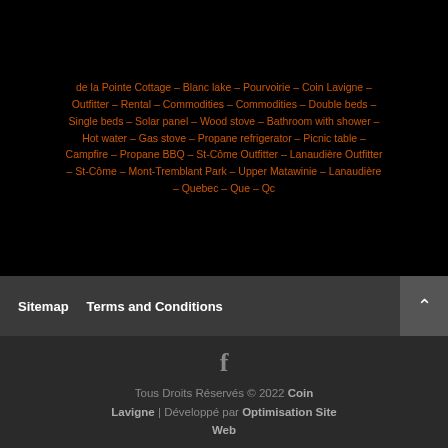de la Pointe Cottage – Blanc lake – Pourvoirie – Coin Lavigne – Outfitter – Rental – Commodities – Commodities – Double beds – Single beds – Solar panel – Wood stove – Bathroom with shower – Hot water – Gas stove – Propane refrigerator – Picnic table – Campfire – Propane BBQ – St-Côme Outfitter – Lanaudière Outfitter – St-Côme – Mont-Tremblant Park – Upper Matawinie – Lanaudière – Quebec – Que – Qc
Sitemap    Terms and Conditions
Tous Droits Réservés © 2022 Coin Lavigne | Développé par Optimisation Site Web